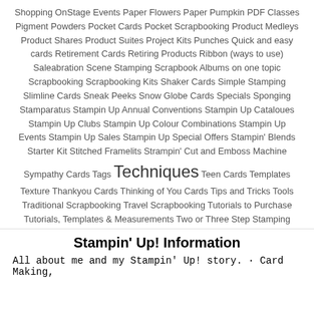Shopping OnStage Events Paper Flowers Paper Pumpkin PDF Classes Pigment Powders Pocket Cards Pocket Scrapbooking Product Medleys Product Shares Product Suites Project Kits Punches Quick and easy cards Retirement Cards Retiring Products Ribbon (ways to use) Saleabration Scene Stamping Scrapbook Albums on one topic Scrapbooking Scrapbooking Kits Shaker Cards Simple Stamping Slimline Cards Sneak Peeks Snow Globe Cards Specials Sponging Stamparatus Stampin Up Annual Conventions Stampin Up Cataloues Stampin Up Clubs Stampin Up Colour Combinations Stampin Up Events Stampin Up Sales Stampin Up Special Offers Stampin' Blends Starter Kit Stitched Framelits Strampin' Cut and Emboss Machine Sympathy Cards Tags Techniques Teen Cards Templates Texture Thankyou Cards Thinking of You Cards Tips and Tricks Tools Traditional Scrapbooking Travel Scrapbooking Tutorials to Purchase Tutorials, Templates & Measurements Two or Three Step Stamping Valentines Day cards Vellum Videos Videos and Tutorials Vintage Style Washi Tape Watercolouring Wedding Cards Wish Lists Wooden Embellishments World Card Making Day Your Creative Connection
Stampin' Up! Information
All about me and my Stampin' Up! story. · Card Making,